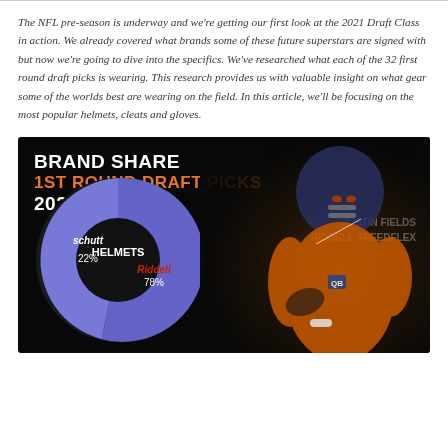The NFL pre-season is underway and we're getting our first look at the 2021 Draft Class in action. We already covered what brands some of these future superstars are signed with but now we're going to dive into the specifics. We've researched what each of the 32 first round draft picks is wearing. This research provides us with valuable insight on what gear some of the worlds best are wearing on the field. In this article, we'll be focusing on the most popular helmets, cleats and gloves.
[Figure (donut-chart): Donut chart showing helmet brand share among 2021 1st round draft picks. Riddell 78%, Schutt 22%. Features photo of Justin Fields wearing Riddell Speedflex.]